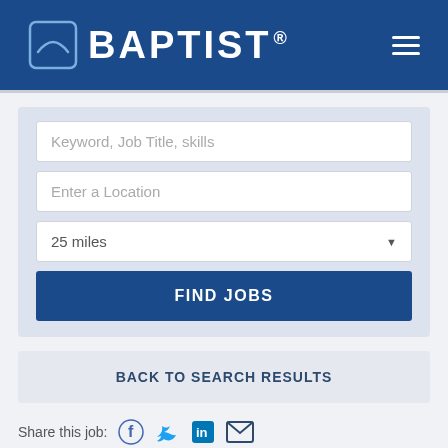[Figure (logo): Baptist Health logo with shield/crest icon and BAPTIST. text in white on dark blue header, with hamburger menu icon on the right]
Keyword, Job Title, skills
Enter a Location
25 miles
FIND JOBS
BACK TO SEARCH RESULTS
Share this job: